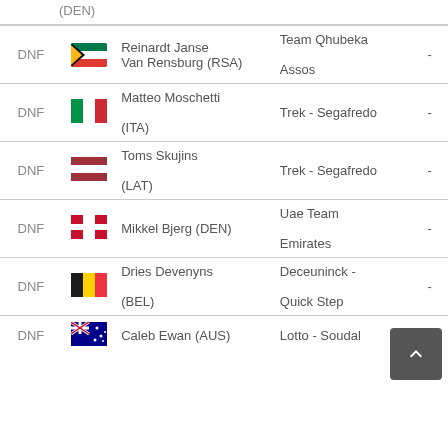| Rank | Flag | Rider | Team | Time |
| --- | --- | --- | --- | --- |
|  | (DEN) |  |  |  |
| DNF | RSA | Reinardt Janse Van Rensburg (RSA) | Team Qhubeka Assos | - |
| DNF | ITA | Matteo Moschetti (ITA) | Trek - Segafredo | - |
| DNF | LAT | Toms Skujins (LAT) | Trek - Segafredo | - |
| DNF | DEN | Mikkel Bjerg (DEN) | Uae Team Emirates | - |
| DNF | BEL | Dries Devenyns (BEL) | Deceuninck - Quick Step | - |
| DNF | AUS | Caleb Ewan (AUS) | Lotto - Soudal | - |